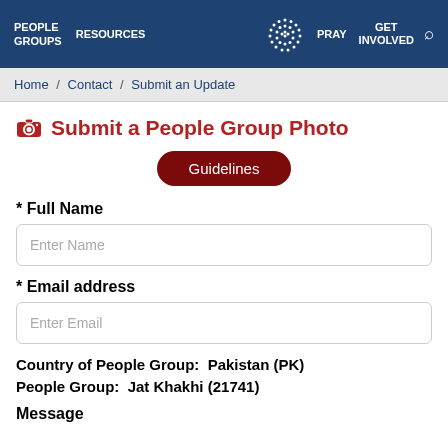PEOPLE GROUPS  RESOURCES  [logo]  PRAY  GET INVOLVED  [search]
Home / Contact / Submit an Update
Submit a People Group Photo
Guidelines
* Full Name
Enter Name
* Email address
Enter Email
Country of People Group:  Pakistan (PK)
People Group:  Jat Khakhi (21741)
Message